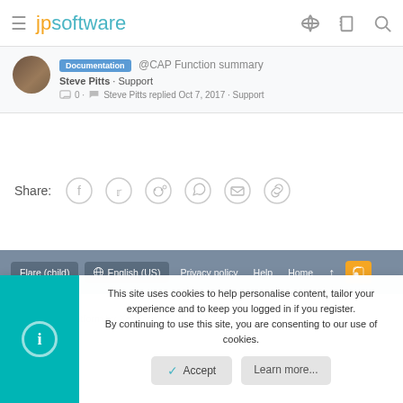jpsoftware
Documentation @CAP Function summary
Steve Pitts · Support
0 · Steve Pitts replied Oct 7, 2017 · Support
Share:
Flare (child) | English (US) | Privacy policy | Help | Home
Community platform by XenForo® © 2010-2021 XenForo Ltd.
This site uses cookies to help personalise content, tailor your experience and to keep you logged in if you register.
By continuing to use this site, you are consenting to our use of cookies.
Accept  Learn more...